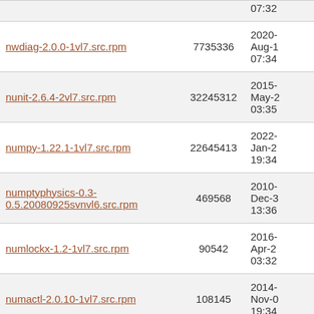| Filename | Size | Date |
| --- | --- | --- |
| nwdiag-2.0.0-1vl7.src.rpm | 7735336 | 2020-Aug-1 07:34 |
| nunit-2.6.4-2vl7.src.rpm | 32245312 | 2015-May-2 03:35 |
| numpy-1.22.1-1vl7.src.rpm | 22645413 | 2022-Jan-2 19:34 |
| numptyphysics-0.3-0.5.20080925svnvl6.src.rpm | 469568 | 2010-Dec-3 13:36 |
| numlockx-1.2-1vl7.src.rpm | 90542 | 2016-Apr-2 03:32 |
| numactl-2.0.10-1vl7.src.rpm | 108145 | 2014-Nov-0 19:34 |
| nuclearchess-1.0.0-4vl7.src.rpm | 1386212 | 2014-Nov-0 03:34 |
|  |  | 2016- |